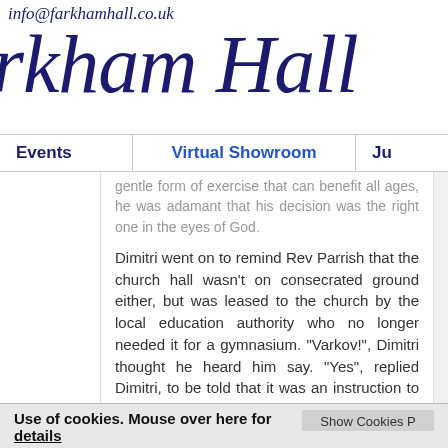info@farkhamhall.co.uk
rkham Hall
Events | Virtual Showroom | Ju
gentle form of exercise that can benefit all ages, he was adamant that his decision was the right one in the eyes of God.
Dimitri went on to remind Rev Parrish that the church hall wasn't on consecrated ground either, but was leased to the church by the local education authority who no longer needed it for a gymnasium. "Varkov!", Dimitri thought he heard him say. "Yes", replied Dimitri, to be told that it was an instruction to leave rather than a call of his name... Most unvicarlike language was being used, but it was clear that the interview was over.
Use of cookies. Mouse over here for details